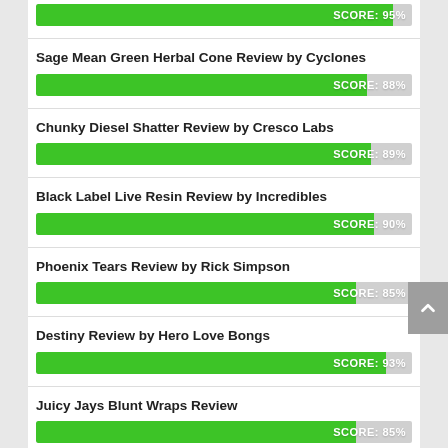[Figure (bar-chart): SCORE: 95%]
Sage Mean Green Herbal Cone Review by Cyclones
[Figure (bar-chart): SCORE: 88%]
Chunky Diesel Shatter Review by Cresco Labs
[Figure (bar-chart): SCORE: 89%]
Black Label Live Resin Review by Incredibles
[Figure (bar-chart): SCORE: 90%]
Phoenix Tears Review by Rick Simpson
[Figure (bar-chart): SCORE: 85%]
Destiny Review by Hero Love Bongs
[Figure (bar-chart): SCORE: 93%]
Juicy Jays Blunt Wraps Review
[Figure (bar-chart): SCORE: 85%]